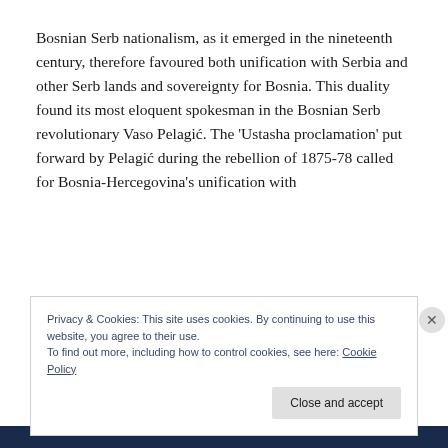Bosnian Serb nationalism, as it emerged in the nineteenth century, therefore favoured both unification with Serbia and other Serb lands and sovereignty for Bosnia. This duality found its most eloquent spokesman in the Bosnian Serb revolutionary Vaso Pelagić. The 'Ustasha proclamation' put forward by Pelagić during the rebellion of 1875-78 called for Bosnia-Hercegovina's unification with
Privacy & Cookies: This site uses cookies. By continuing to use this website, you agree to their use.
To find out more, including how to control cookies, see here: Cookie Policy
Close and accept